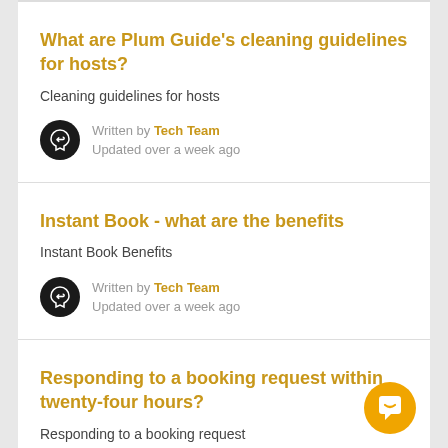What are Plum Guide’s cleaning guidelines for hosts?
Cleaning guidelines for hosts
Written by Tech Team
Updated over a week ago
Instant Book - what are the benefits
Instant Book Benefits
Written by Tech Team
Updated over a week ago
Responding to a booking request within twenty-four hours?
Responding to a booking request